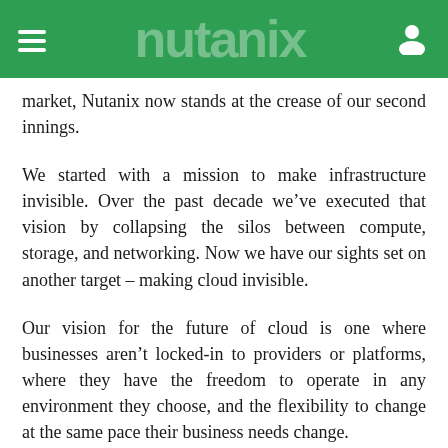[Nutanix navigation header with hamburger menu and user icon]
market, Nutanix now stands at the crease of our second innings.
We started with a mission to make infrastructure invisible. Over the past decade we’ve executed that vision by collapsing the silos between compute, storage, and networking. Now we have our sights set on another target – making cloud invisible.
Our vision for the future of cloud is one where businesses aren’t locked-in to providers or platforms, where they have the freedom to operate in any environment they choose, and the flexibility to change at the same pace their business needs change.
In our recent Enterprise Cloud Index, 92% of Australian